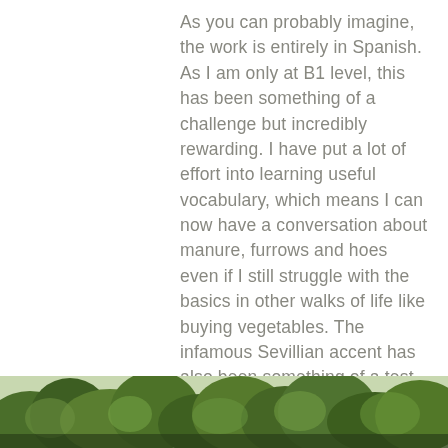As you can probably imagine, the work is entirely in Spanish. As I am only at B1 level, this has been something of a challenge but incredibly rewarding. I have put a lot of effort into learning useful vocabulary, which means I can now have a conversation about manure, furrows and hoes even if I still struggle with the basics in other walks of life like buying vegetables. The infamous Sevillian accent has also been something of a test, although it has slowly trickled its way into my speech and I'm sure my friends in Madrid will be horrified the next time I speak to them!
[Figure (photo): Strip of outdoor foliage/trees photo at bottom of page]